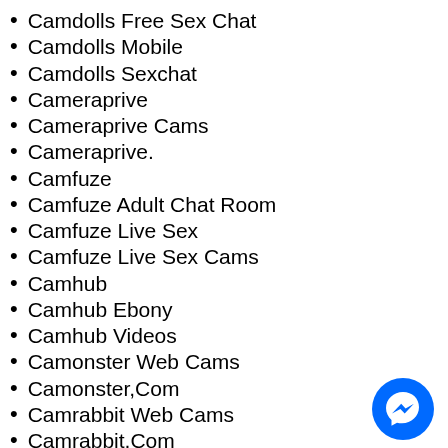Camdolls Free Sex Chat
Camdolls Mobile
Camdolls Sexchat
Cameraprive
Cameraprive Cams
Cameraprive.
Camfuze
Camfuze Adult Chat Room
Camfuze Live Sex
Camfuze Live Sex Cams
Camhub
Camhub Ebony
Camhub Videos
Camonster Web Cams
Camonster,Com
Camrabbit Web Cams
Camrabbit,Com
Cams Ebony
[Figure (illustration): Blue circular Messenger chat button icon in bottom right corner]